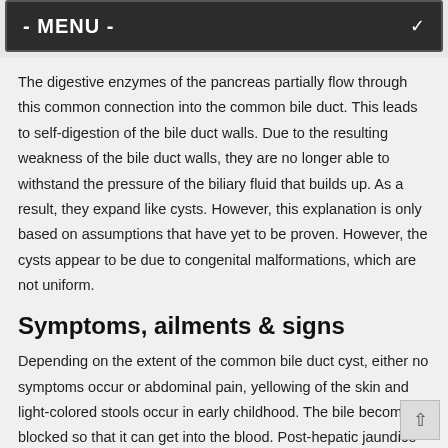- MENU -
The digestive enzymes of the pancreas partially flow through this common connection into the common bile duct. This leads to self-digestion of the bile duct walls. Due to the resulting weakness of the bile duct walls, they are no longer able to withstand the pressure of the biliary fluid that builds up. As a result, they expand like cysts. However, this explanation is only based on assumptions that have yet to be proven. However, the cysts appear to be due to congenital malformations, which are not uniform.
Symptoms, ailments & signs
Depending on the extent of the common bile duct cyst, either no symptoms occur or abdominal pain, yellowing of the skin and light-colored stools occur in early childhood. The bile becomes blocked so that it can get into the blood. Post-hepatic jaundice develops. When the yellow pigment bilirubin escapes from the blood into the body organs, the skin turns yellow.